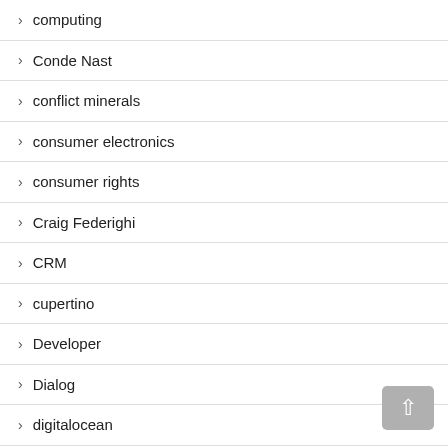› computing
› Conde Nast
› conflict minerals
› consumer electronics
› consumer rights
› Craig Federighi
› CRM
› cupertino
› Developer
› Dialog
› digitalocean
› dollar shave club
› driver
› Dropbox
› dropcam